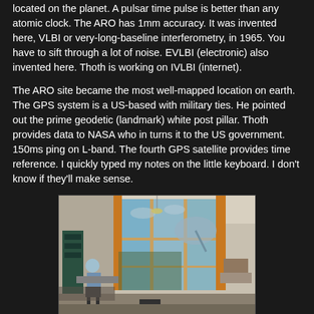located on the planet. A pulsar time pulse is better than any atomic clock. The ARO has 1mm accuracy. It was invented here, VLBI or very-long-baseline interferometry, in 1965. You have to sift through a lot of noise. EVLBI (electronic) also invented here. Thoth is working on IVLBI (internet).
The ARO site became the most well-mapped location on earth. The GPS system is a US-based with military ties. He pointed out the prime geodetic (landmark) white post pillar. Thoth provides data to NASA who in turns it to the US government. 150ms ping on L-band. The fourth GPS satellite provides time reference. I quickly typed my notes on the little keyboard. I don't know if they'll make sense.
[Figure (photo): Interior of ARO (Algonquin Radio Observatory) control room with large windows showing the radio telescope dish outside. A person is seated at workstations. Orange curtains frame tall windows. The room has computers and equipment.]